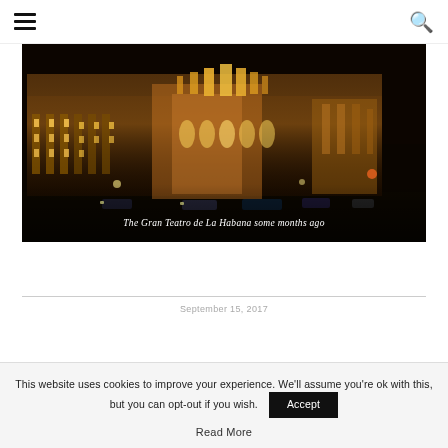☰ [navigation menu] [search icon]
[Figure (photo): Night photograph of the Gran Teatro de La Habana, an ornate illuminated building lit up in golden light against a dark sky, with vehicles on the street in front]
The Gran Teatro de La Habana some months ago
September 15, 2017
This website uses cookies to improve your experience. We'll assume you're ok with this, but you can opt-out if you wish.
Accept
Read More